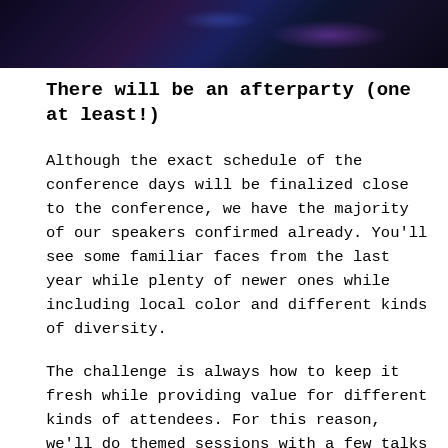[Figure (photo): Dark photo of a conference/party venue with purple and blue lighting, showing tables and objects in dim light]
There will be an afterparty (one at least!)
Although the exact schedule of the conference days will be finalized close to the conference, we have the majority of our speakers confirmed already. You'll see some familiar faces from the last year while plenty of newer ones while including local color and different kinds of diversity.
The challenge is always how to keep it fresh while providing value for different kinds of attendees. For this reason, we'll do themed sessions with a few talks in a row so it's fresh in your memory and you get multiple perspectives on a topic.